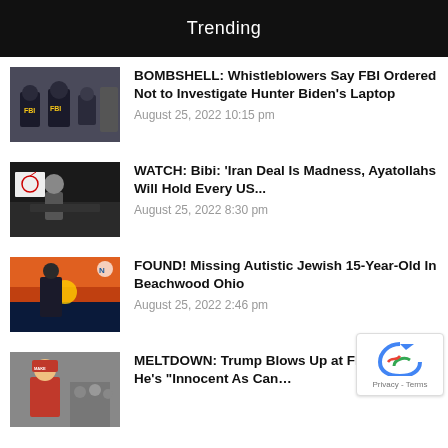Trending
BOMBSHELL: Whistleblowers Say FBI Ordered Not to Investigate Hunter Biden’s Laptop
August 25, 2022 10:15 pm
WATCH: Bibi: ‘Iran Deal Is Madness, Ayatollahs Will Hold Every US…
August 25, 2022 8:30 pm
FOUND! Missing Autistic Jewish 15-Year-Old In Beachwood Ohio
August 25, 2022 2:46 pm
MELTDOWN: Trump Blows Up at Fl… Says He’s “Innocent As Can…